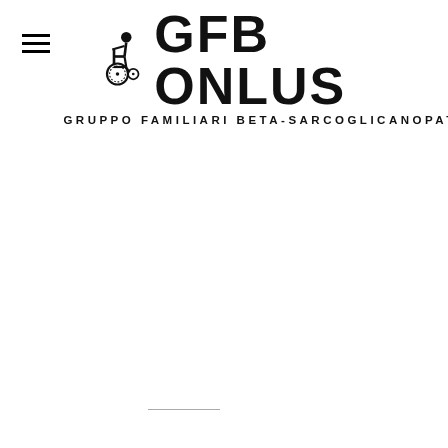[Figure (logo): GFB ONLUS logo with wheelchair icon figure and text 'GRUPPO FAMILIARI BETA-SARCOGLICANOPATIE']
[Figure (other): Hamburger menu icon (three horizontal lines)]